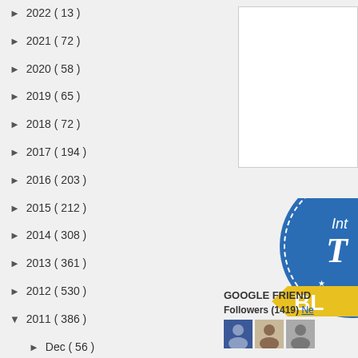► 2022 ( 13 )
► 2021 ( 72 )
► 2020 ( 58 )
► 2019 ( 65 )
► 2018 ( 72 )
► 2017 ( 194 )
► 2016 ( 203 )
► 2015 ( 212 )
► 2014 ( 308 )
► 2013 ( 361 )
► 2012 ( 530 )
▼ 2011 ( 386 )
► Dec ( 56 )
► Nov ( 57 )
▼ Oct ( 42 )
[Figure (other): White box in top right area]
[Figure (illustration): Partially visible circular badge with blue background and yellow banner, showing text 'Int...' and 'T' and 'BL...']
GOOGLE FRIEND
Followers (1419) Ne
[Figure (photo): Three small avatar photos of blog followers]